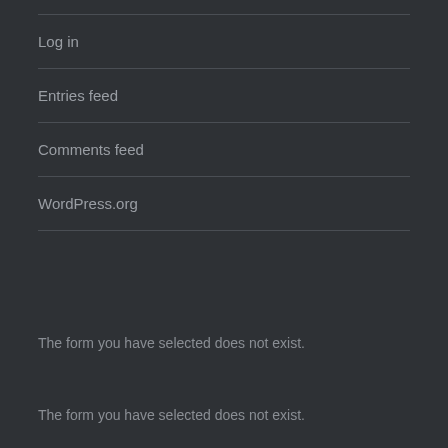Log in
Entries feed
Comments feed
WordPress.org
The form you have selected does not exist.
The form you have selected does not exist.